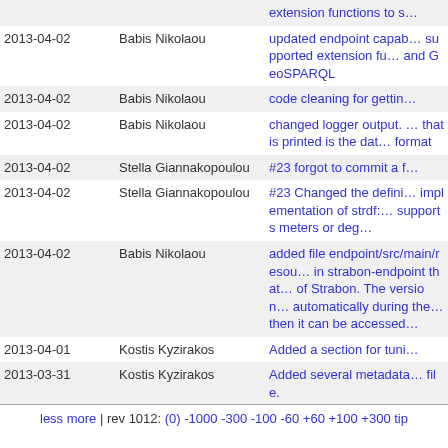| Date | Author | Message |
| --- | --- | --- |
|  |  | extension functions to s… |
| 2013-04-02 | Babis Nikolaou | updated endpoint capa… supported extension fu… and GeoSPARQL |
| 2013-04-02 | Babis Nikolaou | code cleaning for gettin… |
| 2013-04-02 | Babis Nikolaou | changed logger output. … that is printed is the dat… format |
| 2013-04-02 | Stella Giannakopoulou | #23 forgot to commit a f… |
| 2013-04-02 | Stella Giannakopoulou | #23 Changed the defini… implementation of strdf:… supports meters or deg… |
| 2013-04-02 | Babis Nikolaou | added file endpoint/src/main/resou… in strabon-endpoint that… of Strabon. The version… automatically during the… then it can be accessed… |
| 2013-04-01 | Kostis Kyzirakos | Added a section for tuni… |
| 2013-03-31 | Kostis Kyzirakos | Added several metadata… file. |
less more | rev 1012: (0) -1000 -300 -100 -60 +60 +100 +300 tip